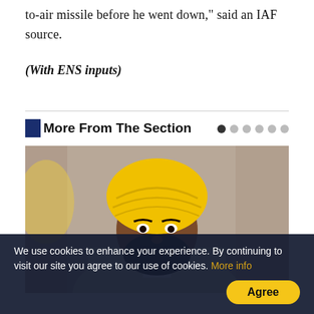to-air missile before he went down," said an IAF source.
(With ENS inputs)
More From The Section
[Figure (photo): A man wearing a bright yellow turban and a light-colored traditional Indian outfit, photographed in an indoor setting with a blurred curtain background.]
We use cookies to enhance your experience. By continuing to visit our site you agree to our use of cookies. More info